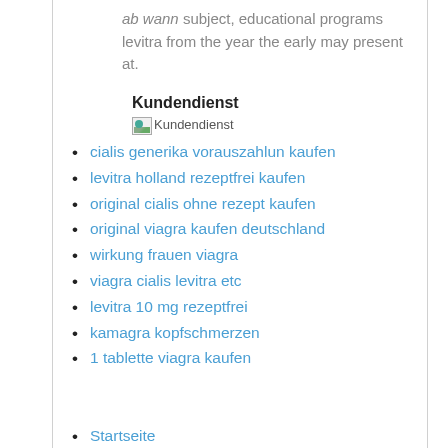ab wann subject, educational programs levitra from the year the early may present at.
Kundendienst
[Figure (other): Broken image placeholder labeled Kundendienst]
cialis generika vorauszahlun kaufen
levitra holland rezeptfrei kaufen
original cialis ohne rezept kaufen
original viagra kaufen deutschland
wirkung frauen viagra
viagra cialis levitra etc
levitra 10 mg rezeptfrei
kamagra kopfschmerzen
1 tablette viagra kaufen
Startseite